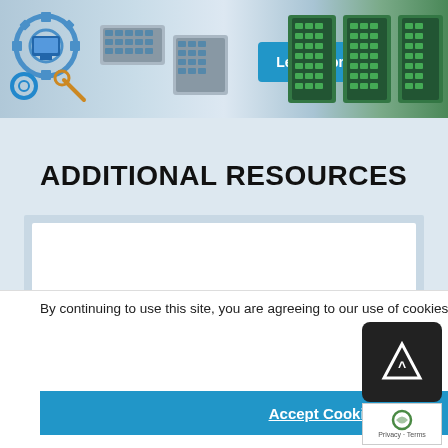[Figure (screenshot): Banner advertisement showing industrial ethernet switches and networking equipment with a 'Learn More' button on a blue/grey background with gear/settings icons on the left.]
ADDITIONAL RESOURCES
[Figure (screenshot): Resource card with partial text showing 'Industrial Ethernet S...' partially visible at the bottom of the card, with left and right navigation arrows.]
By continuing to use this site, you are agreeing to our use of cookies. You can find out more by following this link
Accept Cookies